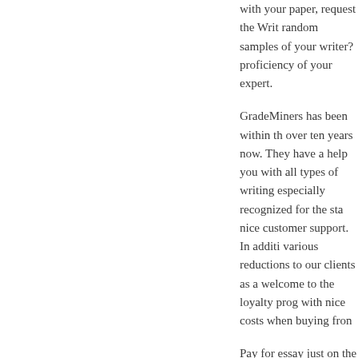with your paper, request the Writ random samples of your writer? proficiency of your expert.
GradeMiners has been within th over ten years now. They have a help you with all types of writing especially recognized for the sta nice customer support. In additi various reductions to our clients as a welcome to the loyalty prog with nice costs when buying fron
Pay for essay just on the end of th made sure it meets your standa excessive quality assure whenev essay for me. But generally, pape legislation. The most competent topic of your essay might be sele
They all specialize in totally diffe numerous backgrounds, which a of orders. Choose an advanced p in your discipline who?s used to a author who?s a native English